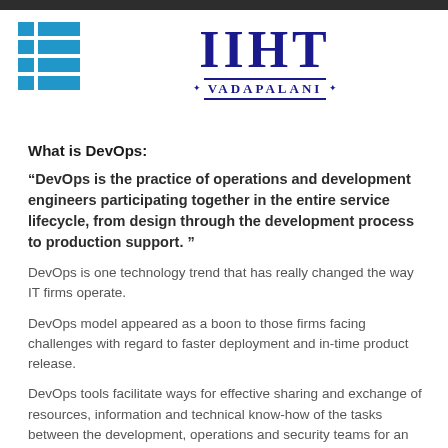[Figure (logo): IIHT Vadapalani logo with grid icon on the left and bold serif IIHT text with VADAPALANI subtitle on the right]
What is DevOps:
“DevOps is the practice of operations and development engineers participating together in the entire service lifecycle, from design through the development process to production support.”
DevOps is one technology trend that has really changed the way IT firms operate.
DevOps model appeared as a boon to those firms facing challenges with regard to faster deployment and in-time product release.
DevOps tools facilitate ways for effective sharing and exchange of resources, information and technical know-how of the tasks between the development, operations and security teams for an effective product output.